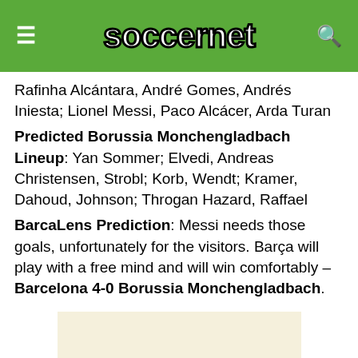soccernet
Rafinha Alcántara, André Gomes, Andrés Iniesta; Lionel Messi, Paco Alcácer, Arda Turan
Predicted Borussia Monchengladbach Lineup: Yan Sommer; Elvedi, Andreas Christensen, Strobl; Korb, Wendt; Kramer, Dahoud, Johnson; Throgan Hazard, Raffael
BarcaLens Prediction: Messi needs those goals, unfortunately for the visitors. Barça will play with a free mind and will win comfortably – Barcelona 4-0 Borussia Monchengladbach.
[Figure (other): Advertisement placeholder block with light beige background]